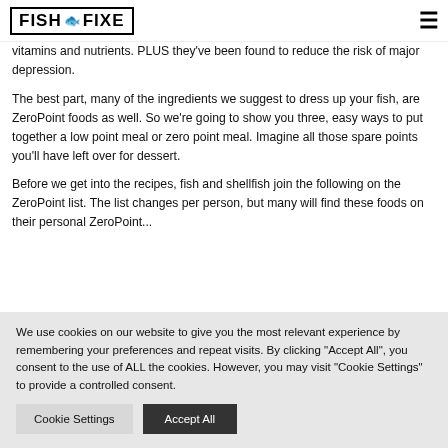FISH FIXE [logo with hamburger menu icon]
vitamins and nutrients. PLUS they've been found to reduce the risk of major depression.
The best part, many of the ingredients we suggest to dress up your fish, are ZeroPoint foods as well.  So we're going to show you three, easy ways to put together a low point meal or zero point meal.  Imagine all those spare points you'll have left over for dessert.
Before we get into the recipes, fish and shellfish join the following on the ZeroPoint list.  The list changes per person, but many will find these foods on their personal ZeroPoint...
We use cookies on our website to give you the most relevant experience by remembering your preferences and repeat visits. By clicking "Accept All", you consent to the use of ALL the cookies. However, you may visit "Cookie Settings" to provide a controlled consent.